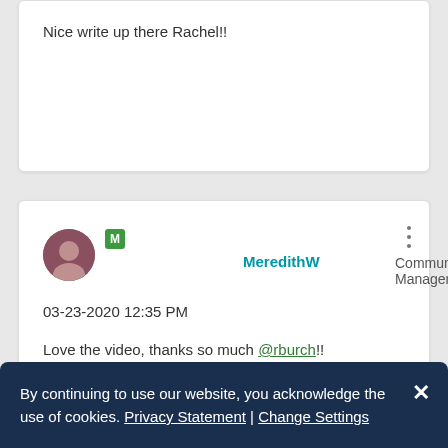Nice write up there Rachel!!
MeredithW Community Manager
03-23-2020 12:35 PM
Love the video, thanks so much @rburch!!
By continuing to use our website, you acknowledge the use of cookies. Privacy Statement | Change Settings